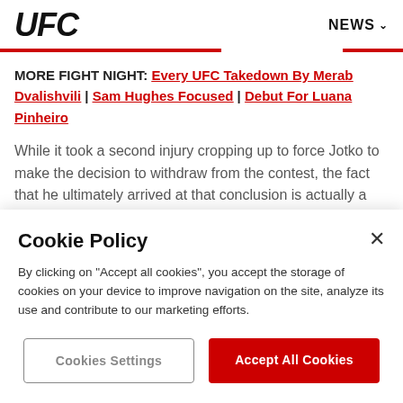UFC | NEWS
MORE FIGHT NIGHT: Every UFC Takedown By Merab Dvalishvili | Sam Hughes Focused | Debut For Luana Pinheiro
While it took a second injury cropping up to force Jotko to make the decision to withdraw from the contest, the fact that he ultimately arrived at that conclusion is actually a sign of
Cookie Policy
By clicking on "Accept all cookies", you accept the storage of cookies on your device to improve navigation on the site, analyze its use and contribute to our marketing efforts.
Cookies Settings
Accept All Cookies